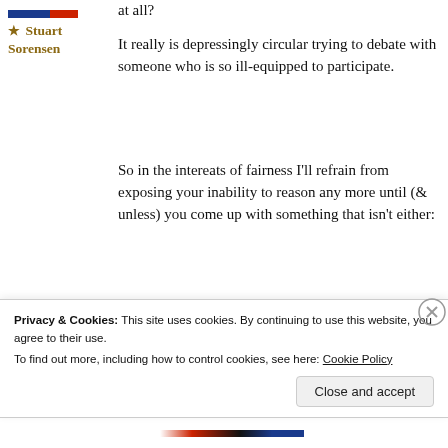at all?
★ Stuart Sorensen
It really is depressingly circular trying to debate with someone who is so ill-equipped to participate.
So in the intereats of fairness I'll refrain from exposing your inability to reason any more until (& unless) you come up with something that isn't either:
Old ground;
Unfounded assumption;
Privacy & Cookies: This site uses cookies. By continuing to use this website, you agree to their use. To find out more, including how to control cookies, see here: Cookie Policy
Close and accept